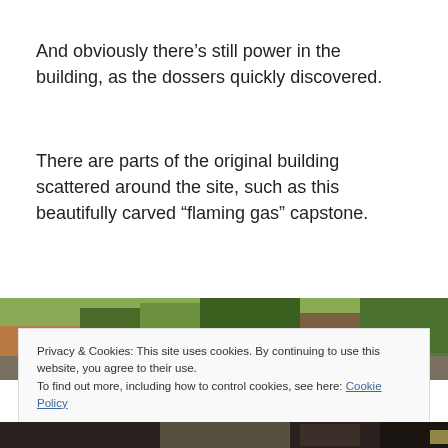And obviously there’s still power in the building, as the dossers quickly discovered.
There are parts of the original building scattered around the site, such as this beautifully carved “flaming gas” capstone.
[Figure (photo): Outdoor scene with debris and vegetation visible, partial photograph]
Privacy & Cookies: This site uses cookies. By continuing to use this website, you agree to their use.
To find out more, including how to control cookies, see here: Cookie Policy
Close and accept
[Figure (photo): Bottom partial photograph, dark indoor scene]